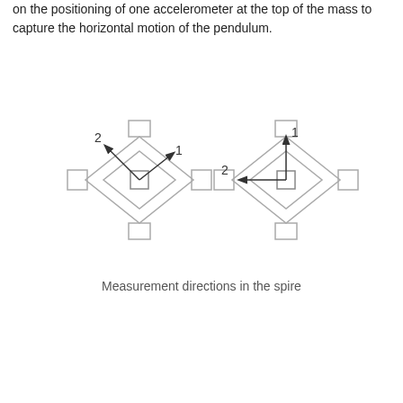on the positioning of one accelerometer at the top of the mass to capture the horizontal motion of the pendulum.
[Figure (engineering-diagram): Two accelerometer sensor diagrams showing measurement directions (axes 1 and 2) in the spire. Left diagram shows diagonal axes (arrows at approximately 45 degrees labeled 1 and 2). Right diagram shows orthogonal axes (vertical arrow labeled 1, horizontal arrow labeled 2). Both diagrams show a diamond-shaped sensor body with rectangular protrusions on four sides.]
Measurement directions in the spire